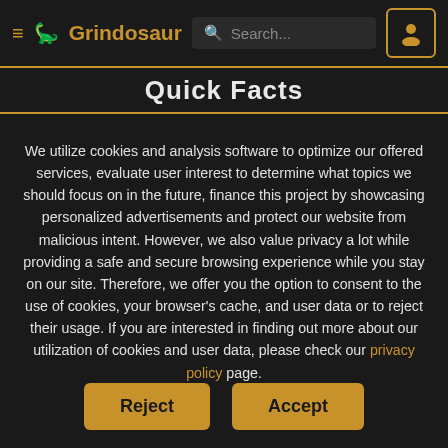≡ Grindosaur   🔍 Search...   [user icon]
Quick Facts
We utilize cookies and analysis software to optimize our offered services, evaluate user interest to determine what topics we should focus on in the future, finance this project by showcasing personalized advertisements and protect our website from malicious intent. However, we also value privacy a lot while providing a safe and secure browsing experience while you stay on our site. Therefore, we offer you the option to consent to the use of cookies, your browser's cache, and user data or to reject their usage. If you are interested in finding out more about our utilization of cookies and user data, please check our privacy policy page.
Reject | Accept